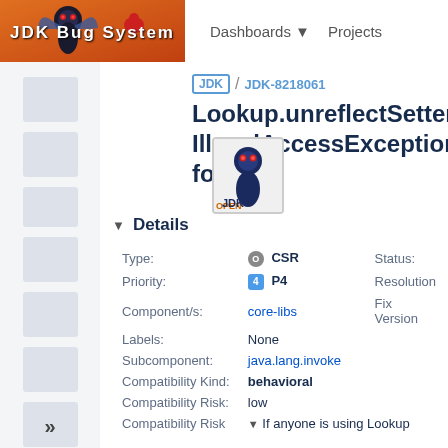JDK Bug System | Dashboards ▼  Projects
JDK / JDK-8218061 Lookup.unreflectSetter(Fie... IllegalAccessException for
▼ Details
| Field | Value | Field2 | Value2 |
| --- | --- | --- | --- |
| Type: | CSR | Status: |  |
| Priority: | P4 | Resolution |  |
| Component/s: | core-libs | Fix Version |  |
| Labels: | None |  |  |
| Subcomponent: | java.lang.invoke |  |  |
| Compatibility Kind: | behavioral |  |  |
| Compatibility Risk: | low |  |  |
| Compatibility Risk | ▼ If anyone is using Lookup |  |  |